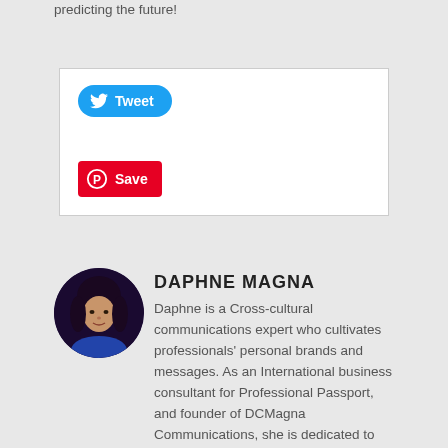predicting the future!
[Figure (screenshot): Social sharing buttons box with Tweet button (blue, Twitter bird icon) and Save button (red, Pinterest icon)]
DAPHNE MAGNA
[Figure (photo): Circular profile photo of Daphne Magna, a woman with dark curly hair wearing a blue outfit, on a dark background.]
Daphne is a Cross-cultural communications expert who cultivates professionals' personal brands and messages. As an International business consultant for Professional Passport, and founder of DCMagna Communications, she is dedicated to building the global mindset of leaders and their ability to captivate, connect with and influence anyone.